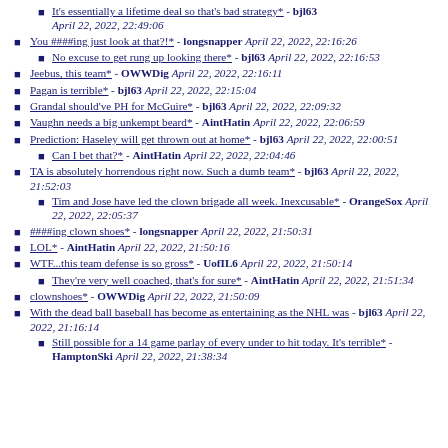It's essentially a lifetime deal so that's bad strategy* - bjl63 April 22, 2022, 22:49:06
You ####ing just look at that?!* - longsnapper April 22, 2022, 22:16:26
No excuse to get rung up looking there* - bjl63 April 22, 2022, 22:16:53
Jeebus, this team* - OWWDig April 22, 2022, 22:16:11
Pagan is terrible* - bjl63 April 22, 2022, 22:15:04
Grandal should've PH for McGuire* - bjl63 April 22, 2022, 22:09:32
Vaughn needs a big unkempt beard* - AintHatin April 22, 2022, 22:06:59
Prediction: Haseley will get thrown out at home* - bjl63 April 22, 2022, 22:00:51
Can I bet that?* - AintHatin April 22, 2022, 22:04:46
TA is absolutely horrendous right now. Such a dumb team* - bjl63 April 22, 2022, 21:52:03
Tim and Jose have led the clown brigade all week. Inexcusable* - OrangeSox April 22, 2022, 22:05:37
####ing clown shoes* - longsnapper April 22, 2022, 21:50:31
LOL* - AintHatin April 22, 2022, 21:50:16
WTF...this team defense is so gross* - UofIL6 April 22, 2022, 21:50:14
They're very well coached, that's for sure* - AintHatin April 22, 2022, 21:51:34
clownshoes* - OWWDig April 22, 2022, 21:50:09
With the dead ball baseball has become as entertaining as the NHL was - bjl63 April 22, 2022, 21:16:14
Still possible for a 14 game parlay of every under to hit today. It's terrible* - HamptonSki April 22, 2022, 21:38:34